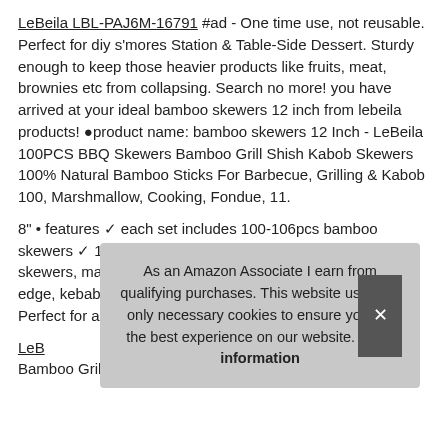LeBeila LBL-PAJ6M-16791 #ad - One time use, not reusable. Perfect for diy s'mores Station & Table-Side Dessert. Sturdy enough to keep those heavier products like fruits, meat, brownies etc from collapsing. Search no more! you have arrived at your ideal bamboo skewers 12 inch from lebeila products! ●product name: bamboo skewers 12 Inch - LeBeila 100PCS BBQ Skewers Bamboo Grill Shish Kabob Skewers 100% Natural Bamboo Sticks For Barbecue, Grilling & Kabob 100, Marshmallow, Cooking, Fondue, 11.
8" • features ✓ each set includes 100-106pcs bamboo skewers ✓ 12 inches long each ✓ disposable heavy duty skewers, marshmallow, chicken, eco friendly ✓ Sharpened edge, kebab, fruit, grilling, kabohs, easy to add food. ✓ Perfect for a... vege...
LeB...
Bamboo Grill Shish Kabob Skewers 100% Natural Bamboo
As an Amazon Associate I earn from qualifying purchases. This website uses the only necessary cookies to ensure you get the best experience on our website. More information